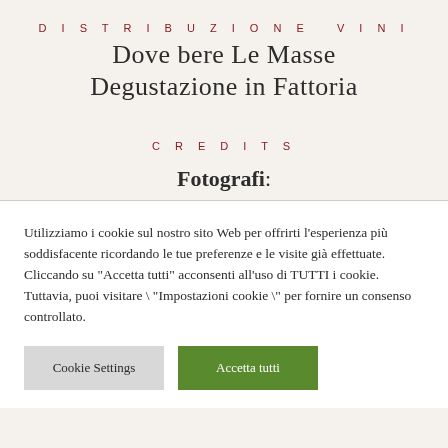DISTRIBUZIONE VINI
Dove bere Le Masse
Degustazione in Fattoria
CREDITS
Fotografi:
Utilizziamo i cookie sul nostro sito Web per offrirti l'esperienza più soddisfacente ricordando le tue preferenze e le visite già effettuate. Cliccando su "Accetta tutti" acconsenti all'uso di TUTTI i cookie. Tuttavia, puoi visitare \ "Impostazioni cookie \" per fornire un consenso controllato.
Cookie Settings | Accetta tutti